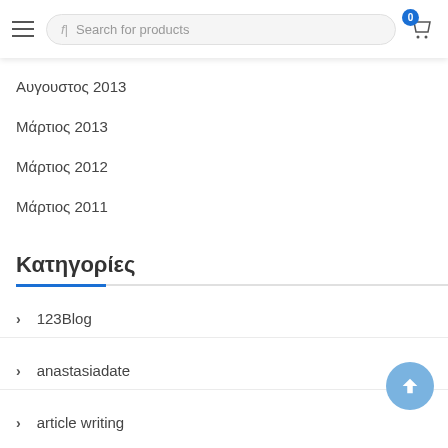Search for products
Αυγουστος 2013
Μάρτιος 2013
Μάρτιος 2012
Μάρτιος 2011
Κατηγορίες
123Blog
anastasiadate
article writing